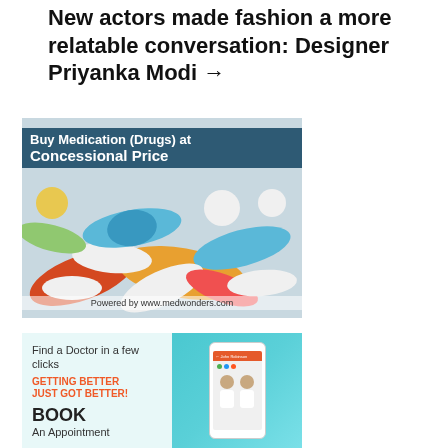New actors made fashion a more relatable conversation: Designer Priyanka Modi →
[Figure (photo): Advertisement image showing colorful pills and capsules with text 'Buy Medication (Drugs) at Concessional Price'. Powered by www.medwonders.com]
[Figure (photo): Advertisement for finding a doctor app. Text: 'Find a Doctor in a few clicks GETTING BETTER JUST GOT BETTER! BOOK An Appointment'. Shows a smartphone with doctor app interface and two doctors.]